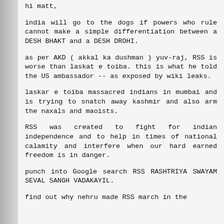hi matt,
india will go to the dogs if powers who rule cannot make a simple differentiation between a DESH BHAKT and a DESH DROHI.
as per AKD ( akkal ka dushman ) yuv-raj, RSS is worse than laskat e toiba. this is what he told the US ambassador -- as exposed by wiki leaks.
laskar e toiba massacred indians in mumbai and is trying to snatch away kashmir and also arm the naxals and maoists.
RSS was created to fight for indian independence and to help in times of national calamity and interfere when our hard earned freedom is in danger.
punch into Google search RSS RASHTRIYA SWAYAM SEVAL SANGH VADAKAYIL.
find out why nehru made RSS march in the